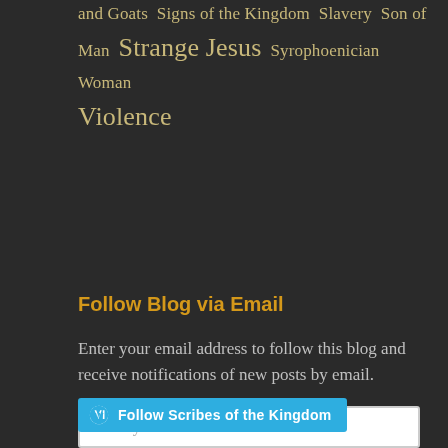and Goats  Signs of the Kingdom  Slavery  Son of Man  Strange Jesus  Syrophoenician Woman  Violence
Follow Blog via Email
Enter your email address to follow this blog and receive notifications of new posts by email.
Enter your email address
Follow
Follow Scribes of the Kingdom